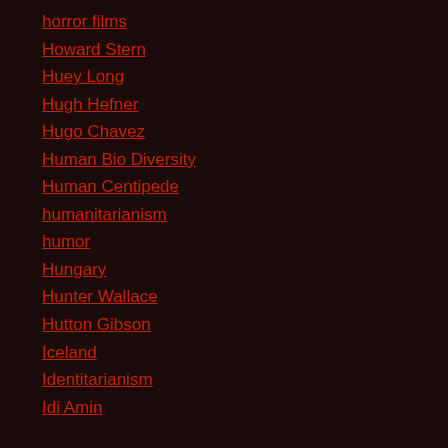horror films
Howard Stern
Huey Long
Hugh Hefner
Hugo Chavez
Human Bio Diversity
Human Centipede
humanitarianism
humor
Hungary
Hunter Wallace
Hutton Gibson
Iceland
Identitarianism
Idi Amin